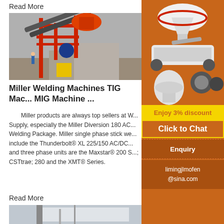Read More
[Figure (photo): Industrial mining/crushing machinery on an elevated metal structure, with red steel framework and conveyor belts at a processing plant.]
Miller Welding Machines TIG Mac... MIG Machine ...
Miller products are always top sellers at W... Supply, especially the Miller Diversion 180 AC... Welding Package. Miller single phase stick we... include the Thunderbolt® XL 225/150 AC/DC... and three phase units are the Maxstar® 200 S... CSTtrae; 280 and the XMT® Series.
Read More
[Figure (photo): Industrial machinery or conveyor system, partially visible at bottom of page.]
[Figure (infographic): Orange sidebar banner showing mining/crushing machines with 'Enjoy 3% discount', 'Click to Chat', 'Enquiry', and 'limingjlmofen@sina.com' contact information.]